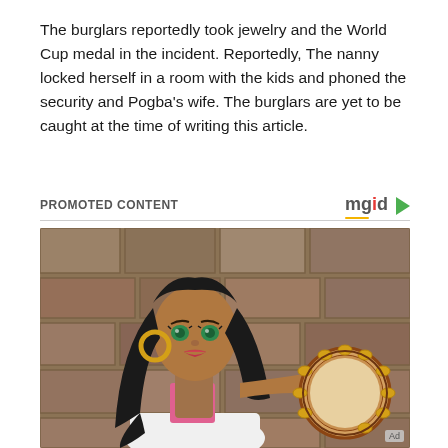The burglars reportedly took jewelry and the World Cup medal in the incident. Reportedly, The nanny locked herself in a room with the kids and phoned the security and Pogba's wife. The burglars are yet to be caught at the time of writing this article.
PROMOTED CONTENT
[Figure (illustration): Animated cartoon character — a dark-haired woman with green eyes wearing a pink and white outfit, holding a tambourine, set against a stone wall background. Disney-style illustration of Esmeralda from The Hunchback of Notre Dame.]